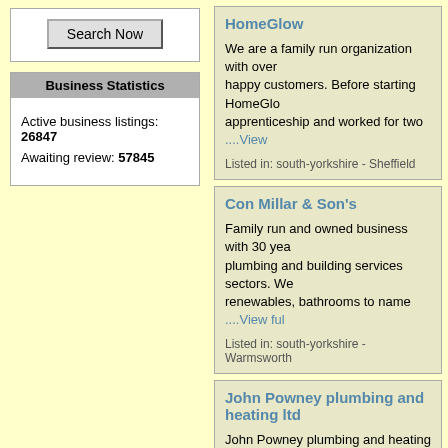Search Now
Business Statistics
Active business listings: 26847
Awaiting review: 57845
HomeGlow
We are a family run organization with over happy customers. Before starting HomeGlo apprenticeship and worked for two ....View
Listed in: south-yorkshire - Sheffield
Con Millar & Son's
Family run and owned business with 30 yea plumbing and building services sectors. We renewables, bathrooms to name ....View ful
Listed in: south-yorkshire - Warmsworth
John Powney plumbing and heating ltd
John Powney plumbing and heating are a p services across the UK including central he combi boilers, repairs and maintenance. We
Listed in: south-yorkshire - Thurnscoe